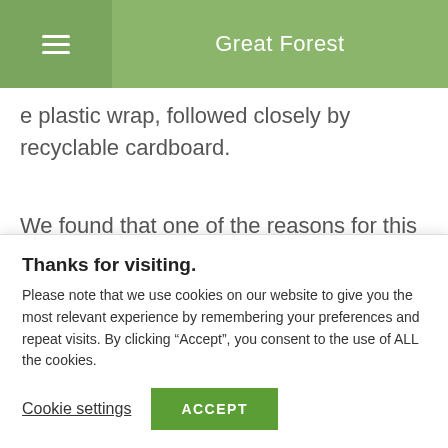Great Forest
e plastic wrap, followed closely by recyclable cardboard.
We found that one of the reasons for this was a low rate of tenant compliance. We noted loose, recyclable materials piled up in various locations, and spotted e-waste and universal waste
Thanks for visiting.
Please note that we use cookies on our website to give you the most relevant experience by remembering your preferences and repeat visits. By clicking “Accept”, you consent to the use of ALL the cookies.
Cookie settings
ACCEPT